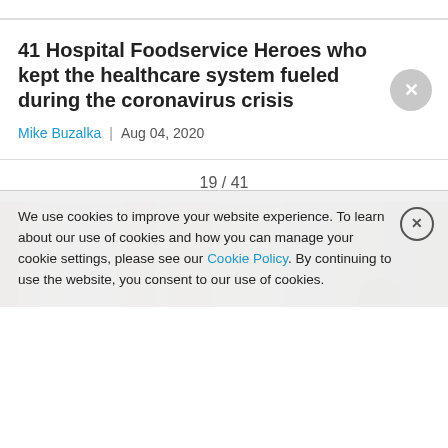41 Hospital Foodservice Heroes who kept the healthcare system fueled during the coronavirus crisis
Mike Buzalka  |  Aug 04, 2020
19 / 41
[Figure (photo): Photo strip showing food service items in a kitchen setting]
We use cookies to improve your website experience. To learn about our use of cookies and how you can manage your cookie settings, please see our Cookie Policy. By continuing to use the website, you consent to our use of cookies.